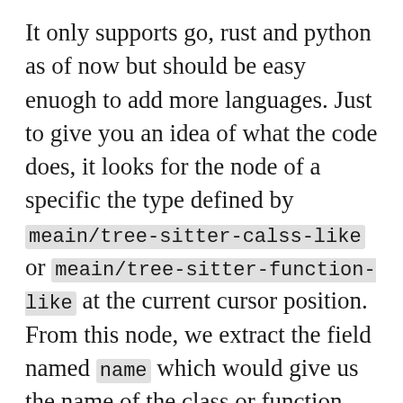It only supports go, rust and python as of now but should be easy enuogh to add more languages. Just to give you an idea of what the code does, it looks for the node of a specific the type defined by meain/tree-sitter-calss-like or meain/tree-sitter-function-like at the current cursor position. From this node, we extract the field named name which would give us the name of the class or function. Just a heads up for people planning to use it in the modeline. Although tree-sitter is pretty fast, you might want to avoid updating this continuously in the modeline. That is why I make use of